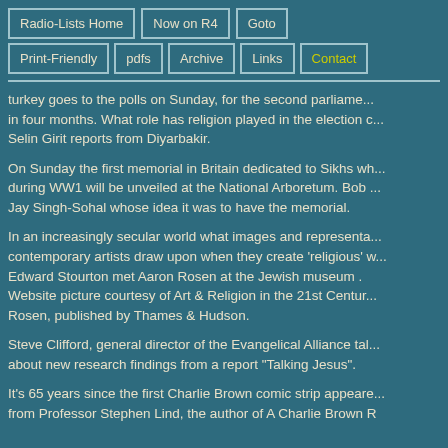Radio-Lists Home | Now on R4 | Goto | Print-Friendly | pdfs | Archive | Links | Contact
...turkey goes to the polls on Sunday, for the second parliament... in four months. What role has religion played in the election c... Selin Girit reports from Diyarbakir.
On Sunday the first memorial in Britain dedicated to Sikhs wh... during WW1 will be unveiled at the National Arboretum. Bob ... Jay Singh-Sohal whose idea it was to have the memorial.
In an increasingly secular world what images and representa... contemporary artists draw upon when they create 'religious' w... Edward Stourton met Aaron Rosen at the Jewish museum . Website picture courtesy of Art & Religion in the 21st Centur... Rosen, published by Thames & Hudson.
Steve Clifford, general director of the Evangelical Alliance tal... about new research findings from a report "Talking Jesus".
It's 65 years since the first Charlie Brown comic strip appeare... from Professor Stephen Lind, the author of A Charlie Brown R